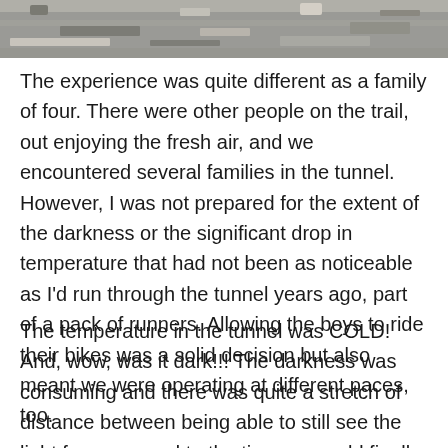[Figure (photo): A close-up photo of a rocky or gravelly surface, partially visible at the top of the page.]
The experience was quite different as a family of four. There were other people on the trail, out enjoying the fresh air, and we encountered several families in the tunnel. However, I was not prepared for the extent of the darkness or the significant drop in temperature that had not been as noticeable as I'd run through the tunnel years ago, part of a pack of runners. Allowing the boys to ride their bikes was a solid decision but also meant we were operating at different paces, too.
The temperature in the tunnel was COLD! And, wow, was it dark!!! The darkness was consuming and there was quite a stretch of distance between being able to still see the light from one end to the time we could finally observe a glimmer of light at the other end. We